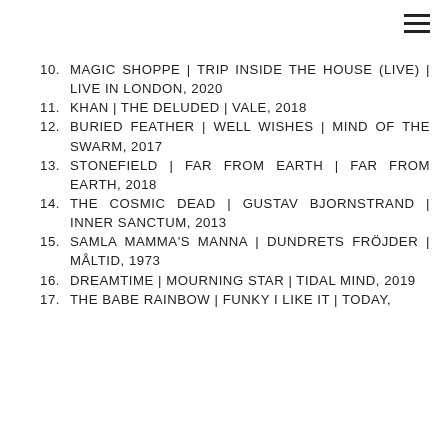10. MAGIC SHOPPE | TRIP INSIDE THE HOUSE (LIVE) | LIVE IN LONDON, 2020
11. KHAN | THE DELUDED | VALE, 2018
12. BURIED FEATHER | WELL WISHES | MIND OF THE SWARM, 2017
13. STONEFIELD | FAR FROM EARTH | FAR FROM EARTH, 2018
14. THE COSMIC DEAD | GUSTAV BJORNSTRAND | INNER SANCTUM, 2013
15. SAMLA MAMMA'S MANNA | DUNDRETS FRÖJDER | MÅLTID, 1973
16. DREAMTIME | MOURNING STAR | TIDAL MIND, 2019
17. THE BABE RAINBOW | FUNKY I LIKE IT | TODAY,